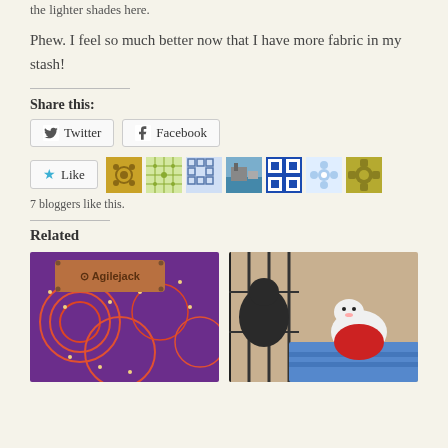the lighter shades here.
Phew. I feel so much better now that I have more fabric in my stash!
Share this:
Twitter  Facebook
Like  [7 blogger avatars]
7 bloggers like this.
Related
[Figure (photo): Agilejack fabric with colorful Aboriginal pattern and leather Agilejack tag]
[Figure (photo): White animal (possibly ferret or cat) in a red outfit inside a crate with a dark animal nearby]